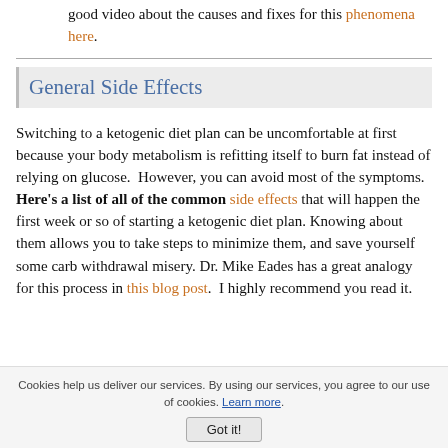good video about the causes and fixes for this phenomena here.
General Side Effects
Switching to a ketogenic diet plan can be uncomfortable at first because your body metabolism is refitting itself to burn fat instead of relying on glucose.  However, you can avoid most of the symptoms. Here's a list of all of the common side effects that will happen the first week or so of starting a ketogenic diet plan. Knowing about them allows you to take steps to minimize them, and save yourself some carb withdrawal misery. Dr. Mike Eades has a great analogy for this process in this blog post.  I highly recommend you read it.
Cookies help us deliver our services. By using our services, you agree to our use of cookies. Learn more. Got it!